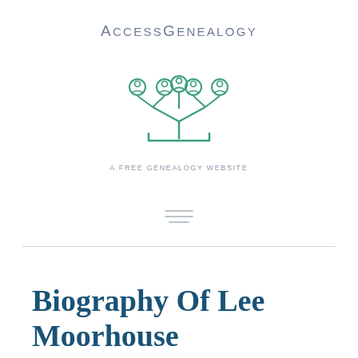[Figure (logo): AccessGenealogy logo with a stylized green family tree made of person icons and circular nodes, with arching text 'AccessGenealogy' above and 'A Free Genealogy Website' below]
Biography of Lee Moorhouse